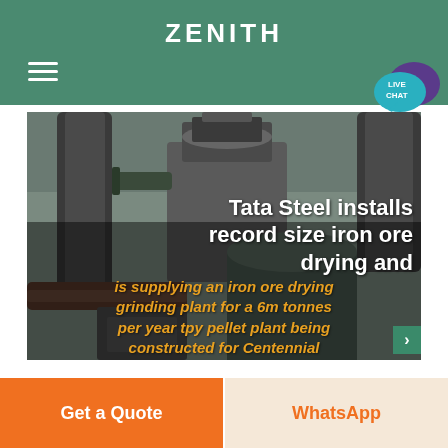ZENITH
[Figure (screenshot): Industrial iron ore drying and grinding plant machinery with large pipes and equipment inside a factory building. Overlay text: 'Tata Steel installs record size iron ore drying and' in white bold, and 'is supplying an iron ore drying grinding plant for a 6m tonnes per year tpy pellet plant being constructed for Centennial' in orange italic.]
Get a Quote
WhatsApp